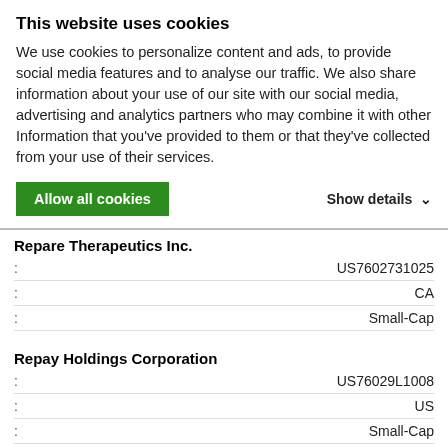This website uses cookies
We use cookies to personalize content and ads, to provide social media features and to analyse our traffic. We also share information about your use of our site with our social media, advertising and analytics partners who may combine it with other Information that you've provided to them or that they've collected from your use of their services.
Allow all cookies   Show details
Repare Therapeutics Inc.
|  |  |
| --- | --- |
| : | US7602731025 |
| : | CA |
| : | Small-Cap |
Repay Holdings Corporation
|  |  |
| --- | --- |
| : | US76029L1008 |
| : | US |
| : | Small-Cap |
REPCO HOME FINANCE LTD